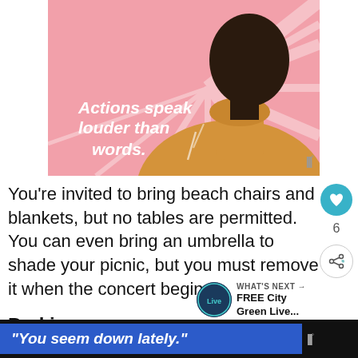[Figure (illustration): Illustration of a person seen from behind wearing a yellow turtleneck on a pink radiant background. White text on the back reads 'Actions speak louder than words.' A small wordmark (three vertical bars with a degree symbol) appears at bottom right of the image.]
You're invited to bring beach chairs and blankets, but no tables are permitted. You can even bring an umbrella to shade your picnic, but you must remove it when the concert begins.
Parking
“You seem down lately.”